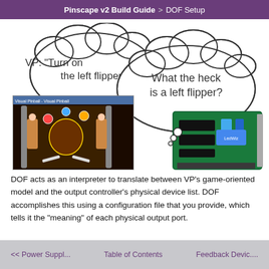Pinscape v2 Build Guide > DOF Setup
[Figure (illustration): Illustration showing a Visual Pinball software window with a thought bubble saying 'VP: Turn on the left flipper' and an output controller board with a thought bubble saying 'What the heck is a left flipper?' — representing DOF as an interpreter between VP and hardware.]
DOF acts as an interpreter to translate between VP’s game-oriented model and the output controller's physical device list. DOF accomplishes this using a configuration file that you provide, which tells it the "meaning" of each physical output port.
<< Power Suppl...   Table of Contents   Feedback Devic....